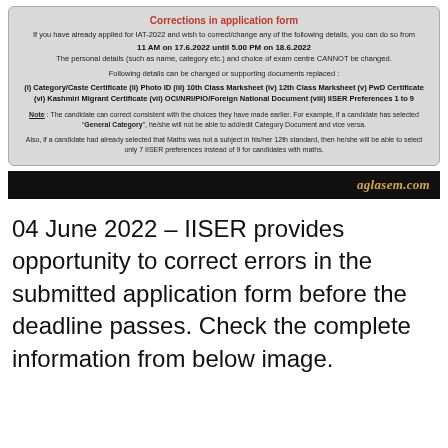Corrections in application form
If you have already applied for IAT-2022 and wish to correct/change any of the following details, you can do so from 11 AM on 17.6.2022 until 5.00 PM on 18.6.2022. The personal details (such as name, category etc.) and choice of exam centre CANNOT be changed.
Following details can be changed or supporting documents replaced :
(i) Category/Caste Certificate (ii) Photo ID (iii) 10th Class Marksheet (iv) 12th Class Marksheet (v) PwD Certificate (vi) Kashmiri Migrant Certificate (vii) OCI/NRI/PIO/Foreign National Document (viii) IISER Preferences 1 to 9
Note : The candidate can correct consistent with the choices they have made earlier. For example, if a candidate has selected "General Category", he/she will not be able to add/edit Category Document and vice versa.
Also, if a candidate had already selected that Maths was not a subject in his/her 12th standard, then he/she will be able to select only 7 IISER preferences instead of 9 for candidates with maths.
[Figure (logo): aglasem.com brand bar on black background]
04 June 2022 – IISER provides opportunity to correct errors in the submitted application form before the deadline passes. Check the complete information from below image.